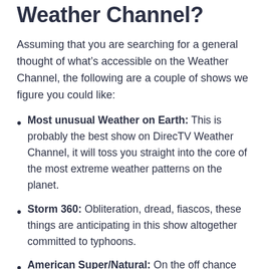series accessible on the Weather Channel?
Assuming that you are searching for a general thought of what’s accessible on the Weather Channel, the following are a couple of shows we figure you could like:
Most unusual Weather on Earth: This is probably the best show on DirecTV Weather Channel, it will toss you straight into the core of the most extreme weather patterns on the planet.
Storm 360: Obliteration, dread, fiascos, these things are anticipating in this show altogether committed to typhoons.
American Super/Natural: On the off chance that you like science stuff, this show is made for you! It will let you know all that you want to be familiar with logical